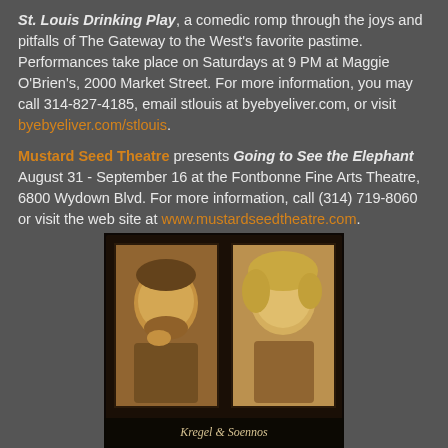St. Louis Drinking Play, a comedic romp through the joys and pitfalls of The Gateway to the West's favorite pastime. Performances take place on Saturdays at 9 PM at Maggie O'Brien's, 2000 Market Street. For more information, you may call 314-827-4185, email stlouis at byebyeliver.com, or visit byebyeliver.com/stlouis.
Mustard Seed Theatre presents Going to See the Elephant August 31 - September 16 at the Fontbonne Fine Arts Theatre, 6800 Wydown Blvd. For more information, call (314) 719-8060 or visit the web site at www.mustardseedtheatre.com.
[Figure (photo): Two sepia-toned portrait photos side by side in a dark frame with the caption 'Kregel & Soennos']